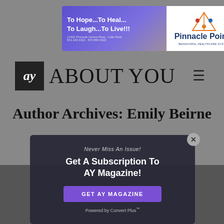[Figure (other): Advertisement banner for Pinnacle Pointe Behavioral Healthcare System with purple gradient background and white logo panel. Text: 'To Hope...To Heal...To Laugh...To Live!!!' with address and phone numbers.]
[Figure (logo): AY About You magazine logo: black box with 'ay' in white italic text, followed by large serif 'ABOUT YOU' text, with hamburger menu icon on right.]
Author Archives: Emily Beirne
[Figure (screenshot): Modal popup overlay on dark background: 'Never Miss An Issue! Get A Subscription To AY Magazine!' with purple button 'GET AY MAGAZINE' and 'Powered by Convert Plus™' footer. Close X button in top-right corner.]
[Figure (photo): Background photo partially visible behind modal showing outdoor scene.]